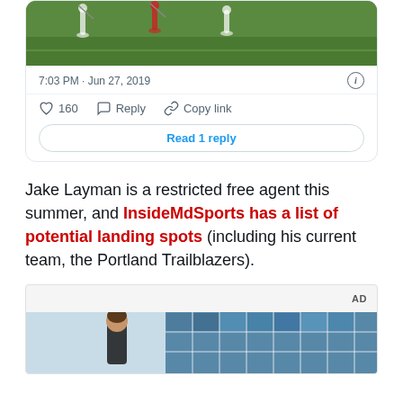[Figure (screenshot): Tweet screenshot showing sports photo (lacrosse/field players on grass), timestamp 7:03 PM · Jun 27, 2019, with like (160), reply, and copy link actions, and a 'Read 1 reply' button]
Jake Layman is a restricted free agent this summer, and InsideMdSports has a list of potential landing spots (including his current team, the Portland Trailblazers).
[Figure (screenshot): Advertisement box with AD label and partial image of a person in front of a building with blue glass windows]